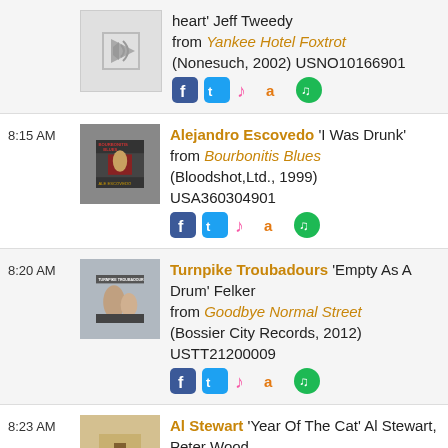heart' Jeff Tweedy from Yankee Hotel Foxtrot (Nonesuch, 2002) USNO10166901
8:15 AM – Alejandro Escovedo 'I Was Drunk' from Bourbonitis Blues (Bloodshot,Ltd., 1999) USA360304901
8:20 AM – Turnpike Troubadours 'Empty As A Drum' Felker from Goodbye Normal Street (Bossier City Records, 2012) USTT21200009
8:23 AM – Al Stewart 'Year Of The Cat' Al Stewart, Peter Wood